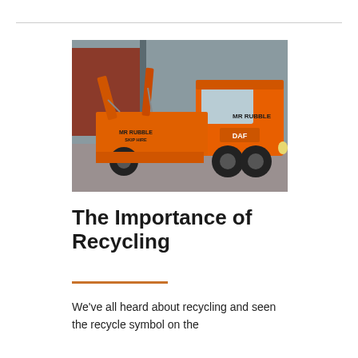[Figure (photo): An orange DAF truck/lorry branded 'MR RUBBLE SKIP HIRE' parked in an industrial yard. The skip loader truck is fully orange with black 'MR RUBBLE' lettering on the cab and body. A contact number is visible on the door.]
The Importance of Recycling
We've all heard about recycling and seen the recycle symbol on the